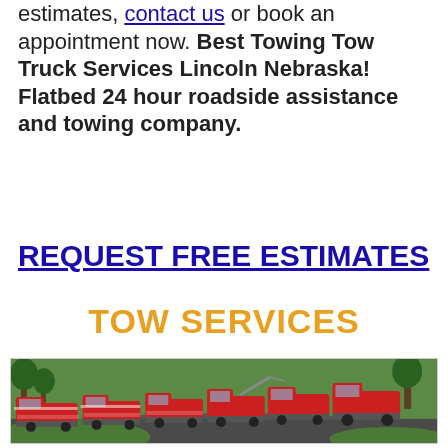estimates, contact us or book an appointment now. Best Towing Tow Truck Services Lincoln Nebraska! Flatbed 24 hour roadside assistance and towing company.
REQUEST FREE ESTIMATES
TOW SERVICES
[Figure (photo): A fleet of red and white tow trucks lined up on a paved road with green grass and trees in the background.]